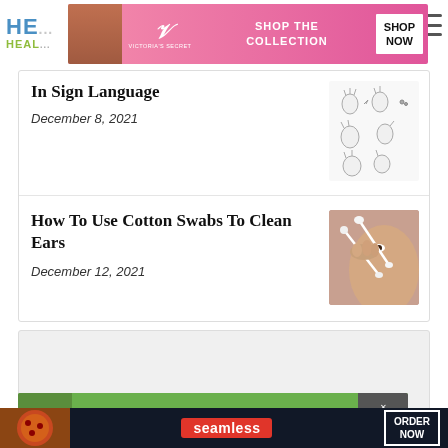HE... HEAL...
[Figure (photo): Victoria's Secret advertisement banner with model, VS logo, SHOP THE COLLECTION text, and SHOP NOW button]
In Sign Language
December 8, 2021
[Figure (illustration): Sign language hand gesture illustrations]
How To Use Cotton Swabs To Clean Ears
December 12, 2021
[Figure (photo): Person holding cotton swabs near face]
[Figure (other): Gray placeholder content box]
[Figure (photo): 37 BEAUTY advertisement with green background and close button]
[Figure (photo): Seamless food delivery advertisement with pizza image and ORDER NOW button]